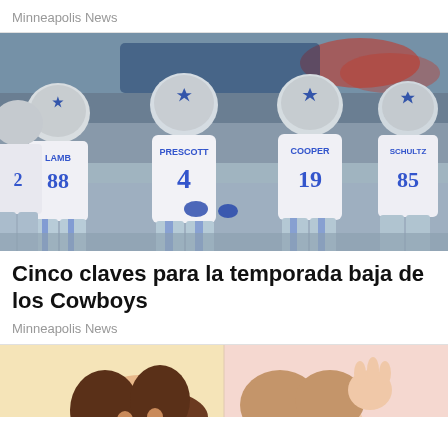Minneapolis News
[Figure (photo): Dallas Cowboys players in a huddle viewed from behind, showing jerseys: LAMB 88, PRESCOTT 4, COOPER 19, SCHULTZ 85, wearing white uniforms with blue numbers and light grey/blue pants with blue stripes, silver helmets with blue stars]
Cinco claves para la temporada baja de los Cowboys
Minneapolis News
[Figure (illustration): Cartoon/illustration strip showing animated characters, partial view at bottom of page]